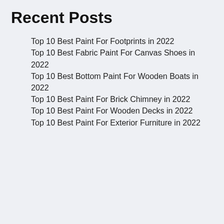Recent Posts
Top 10 Best Paint For Footprints in 2022
Top 10 Best Fabric Paint For Canvas Shoes in 2022
Top 10 Best Bottom Paint For Wooden Boats in 2022
Top 10 Best Paint For Brick Chimney in 2022
Top 10 Best Paint For Wooden Decks in 2022
Top 10 Best Paint For Exterior Furniture in 2022